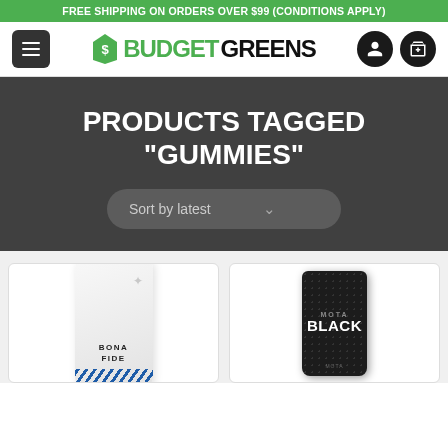FREE SHIPPING ON ORDERS OVER $99 (CONDITIONS APPLY)
[Figure (logo): BudgetGreens logo with green price tag icon, hamburger menu button, user icon and shopping bag icon]
PRODUCTS TAGGED "GUMMIES"
Sort by latest
[Figure (photo): Bona Fide white product pouch with blue diagonal stripe at bottom]
[Figure (photo): Mota Black dark product pouch with pattern texture]